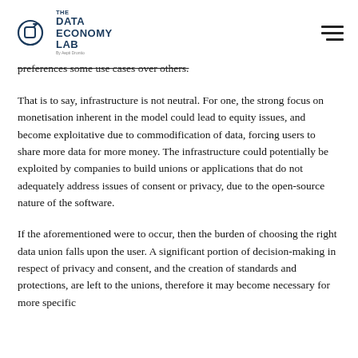THE DATA ECONOMY LAB By Aepti Drontio
preferences some use cases over others.
That is to say, infrastructure is not neutral. For one, the strong focus on monetisation inherent in the model could lead to equity issues, and become exploitative due to commodification of data, forcing users to share more data for more money. The infrastructure could potentially be exploited by companies to build unions or applications that do not adequately address issues of consent or privacy, due to the open-source nature of the software.
If the aforementioned were to occur, then the burden of choosing the right data union falls upon the user. A significant portion of decision-making in respect of privacy and consent, and the creation of standards and protections, are left to the unions, therefore it may become necessary for more specific